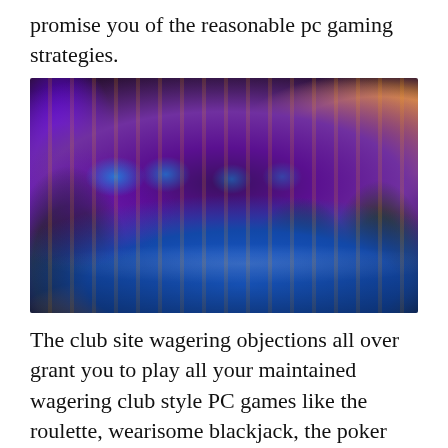promise you of the reasonable pc gaming strategies.
[Figure (photo): Interior photograph of a casino floor showing a blue blackjack table in the foreground, gaming machines in the background, colorful carpet, dramatic purple and orange lighting, and a large ceiling-mounted display screen.]
The club site wagering objections all over grant you to play all your maintained wagering club style PC games like the roulette, wearisome blackjack, the poker and more which additionally with the accommodation of